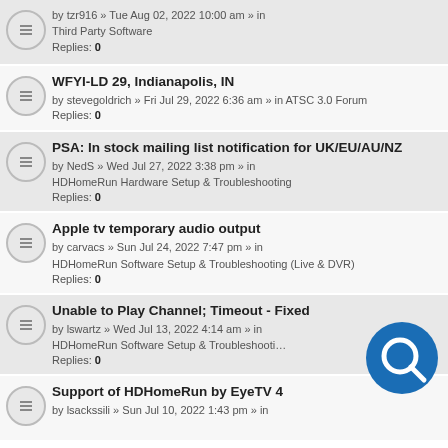by tzr916 » Tue Aug 02, 2022 10:00 am » in Third Party Software
Replies: 0
WFYI-LD 29, Indianapolis, IN
by stevegoldrich » Fri Jul 29, 2022 6:36 am » in ATSC 3.0 Forum
Replies: 0
PSA: In stock mailing list notification for UK/EU/AU/NZ
by NedS » Wed Jul 27, 2022 3:38 pm » in HDHomeRun Hardware Setup & Troubleshooting
Replies: 0
Apple tv temporary audio output
by carvacs » Sun Jul 24, 2022 7:47 pm » in HDHomeRun Software Setup & Troubleshooting (Live & DVR)
Replies: 0
Unable to Play Channel; Timeout - Fixed
by lswartz » Wed Jul 13, 2022 4:14 am » in HDHomeRun Software Setup & Troubleshooting (Live
Replies: 0
Support of HDHomeRun by EyeTV 4
by lsackssili » Sun Jul 10, 2022 1:43 pm » in